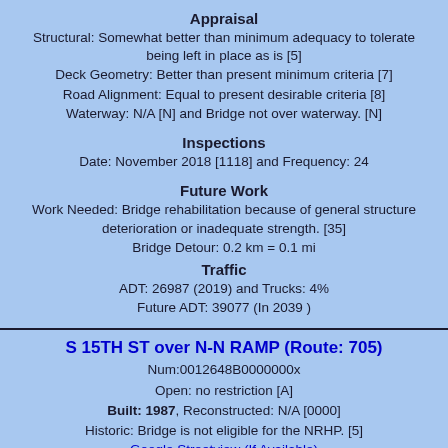Appraisal
Structural: Somewhat better than minimum adequacy to tolerate being left in place as is [5]
Deck Geometry: Better than present minimum criteria [7]
Road Alignment: Equal to present desirable criteria [8]
Waterway: N/A [N] and Bridge not over waterway. [N]
Inspections
Date: November 2018 [1118] and Frequency: 24
Future Work
Work Needed: Bridge rehabilitation because of general structure deterioration or inadequate strength. [35]
Bridge Detour: 0.2 km = 0.1 mi
Traffic
ADT: 26987 (2019) and Trucks: 4%
Future ADT: 39077 (In 2039 )
S 15TH ST over N-N RAMP (Route: 705)
Num:0012648B0000000x
Open: no restriction [A]
Built: 1987, Reconstructed: N/A [0000]
Historic: Bridge is not eligible for the NRHP. [5]
Google Streetview (If Available)